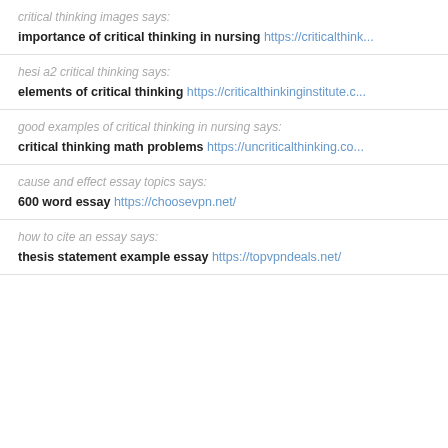critical thinking images says:
importance of critical thinking in nursing https://criticalthink...
hesi a2 critical thinking says:
elements of critical thinking https://criticalthinkinginstitute.c...
good examples of critical thinking in nursing says:
critical thinking math problems https://uncriticalthinking.co...
cause and effect essay topics says:
600 word essay https://choosevpn.net/
how to cite an essay says:
thesis statement example essay https://topvpndeals.net/